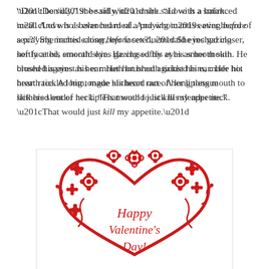“Don’t be silly,” she said with a smirk. “Love is a balanced meal. And who’s ever heard of a praying mantis eating before sex?” She inched closer, her faceted, emerald eyes gazing softly at his smooth skin. He closed his eyes as her mouth brushed against his ear. Her hot breath tickled him, made his heart race. A long tongue slithered out of her lipless mouth to lick his slender neck. “That would just kill my appetite.”
[Figure (illustration): A red floral Valentine's Day illustration featuring a large heart outline with decorative flowers on top, and cursive text reading 'Happy Valentine's Day!' inside the heart.]